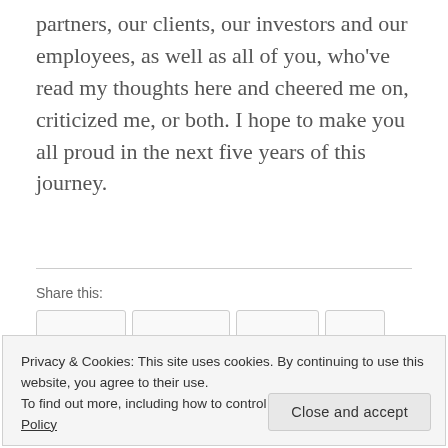partners, our clients, our investors and our employees, as well as all of you, who've read my thoughts here and cheered me on, criticized me, or both. I hope to make you all proud in the next five years of this journey.
Share this:
Privacy & Cookies: This site uses cookies. By continuing to use this website, you agree to their use. To find out more, including how to control cookies, see here: Cookie Policy